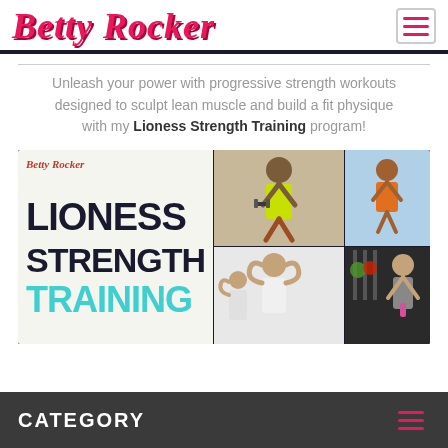Betty Rocker
Unleash your power with progressive strength workouts designed to sculpt lean muscle and build a fit physique with my Lioness Strength Training program!
[Figure (illustration): Lioness Strength Training program promotional banner showing text 'LIONESS STRENGTH TRAINING' with Betty Rocker logo and collage of women exercising]
CATEGORY